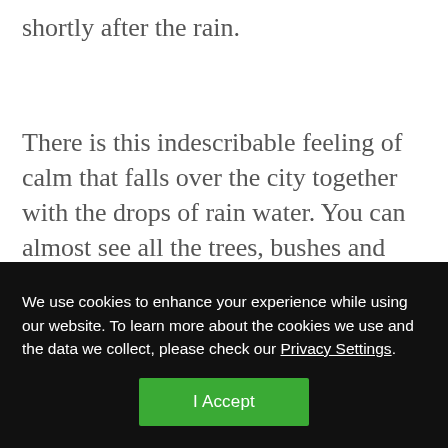shortly after the rain.
There is this indescribable feeling of calm that falls over the city together with the drops of rain water. You can almost see all the trees, bushes and plants relax and pause. There is no
We use cookies to enhance your experience while using our website. To learn more about the cookies we use and the data we collect, please check our Privacy Settings.
I Accept